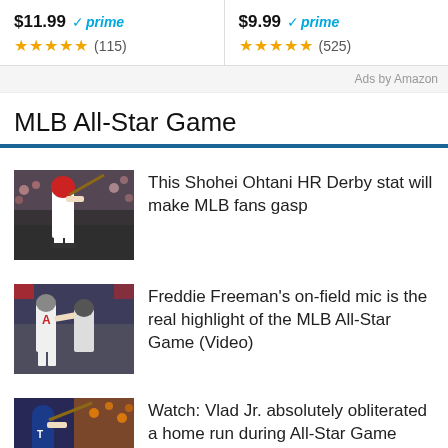$11.99 ✓prime ★★★★★ (115)
$9.99 ✓prime ★★★★★ (525)
Ads by Amazon
MLB All-Star Game
[Figure (photo): Baseball player batting at MLB HR Derby event, Shohei Ohtani]
This Shohei Ohtani HR Derby stat will make MLB fans gasp
[Figure (photo): Freddie Freeman on field during MLB All-Star Game]
Freddie Freeman's on-field mic is the real highlight of the MLB All-Star Game (Video)
[Figure (photo): Vlad Jr. hitting home run during All-Star Game]
Watch: Vlad Jr. absolutely obliterated a home run during All-Star Game (Video)